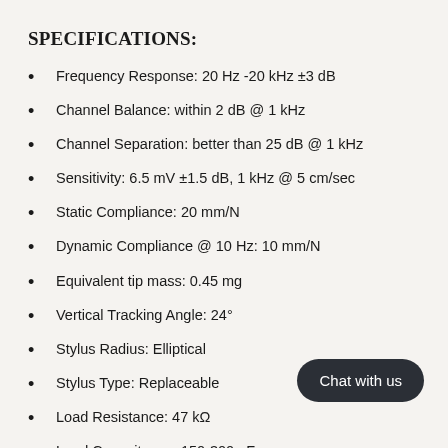SPECIFICATIONS:
Frequency Response: 20 Hz -20 kHz ±3 dB
Channel Balance: within 2 dB @ 1 kHz
Channel Separation: better than 25 dB @ 1 kHz
Sensitivity: 6.5 mV ±1.5 dB, 1 kHz @ 5 cm/sec
Static Compliance: 20 mm/N
Dynamic Compliance @ 10 Hz: 10 mm/N
Equivalent tip mass: 0.45 mg
Vertical Tracking Angle: 24°
Stylus Radius: Elliptical
Stylus Type: Replaceable
Load Resistance: 47 kΩ
Load Capacitance: 150-300 pF